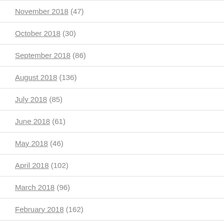November 2018 (47)
October 2018 (30)
September 2018 (86)
August 2018 (136)
July 2018 (85)
June 2018 (61)
May 2018 (46)
April 2018 (102)
March 2018 (96)
February 2018 (162)
January 2018 (154)